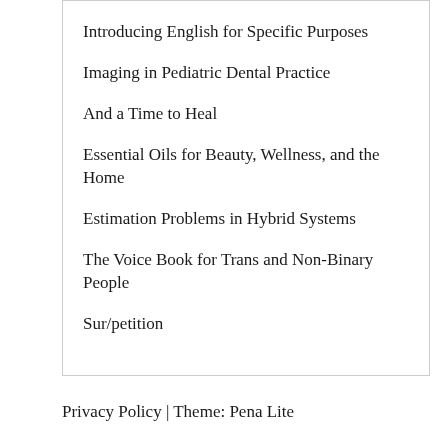Introducing English for Specific Purposes
Imaging in Pediatric Dental Practice
And a Time to Heal
Essential Oils for Beauty, Wellness, and the Home
Estimation Problems in Hybrid Systems
The Voice Book for Trans and Non-Binary People
Sur/petition
Privacy Policy | Theme: Pena Lite